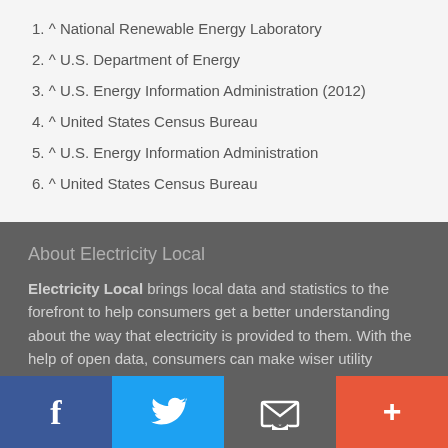1. ^ National Renewable Energy Laboratory
2. ^ U.S. Department of Energy
3. ^ U.S. Energy Information Administration (2012)
4. ^ United States Census Bureau
5. ^ U.S. Energy Information Administration
6. ^ United States Census Bureau
About Electricity Local
Electricity Local brings local data and statistics to the forefront to help consumers get a better understanding about the way that electricity is provided to them. With the help of open data, consumers can make wiser utility choices.
Home › States › Ohio › Custar
f | Twitter | Email | +